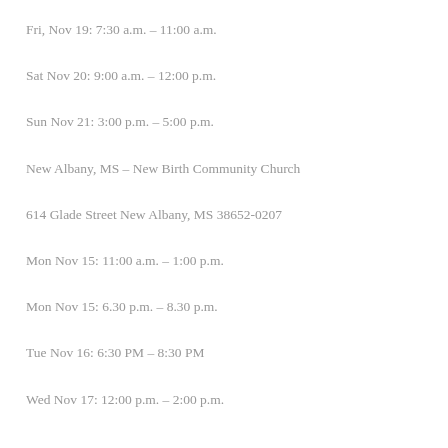Fri, Nov 19: 7:30 a.m. – 11:00 a.m.
Sat Nov 20: 9:00 a.m. – 12:00 p.m.
Sun Nov 21: 3:00 p.m. – 5:00 p.m.
New Albany, MS – New Birth Community Church
614 Glade Street New Albany, MS 38652-0207
Mon Nov 15: 11:00 a.m. – 1:00 p.m.
Mon Nov 15: 6.30 p.m. – 8.30 p.m.
Tue Nov 16: 6:30 PM – 8:30 PM
Wed Nov 17: 12:00 p.m. – 2:00 p.m.